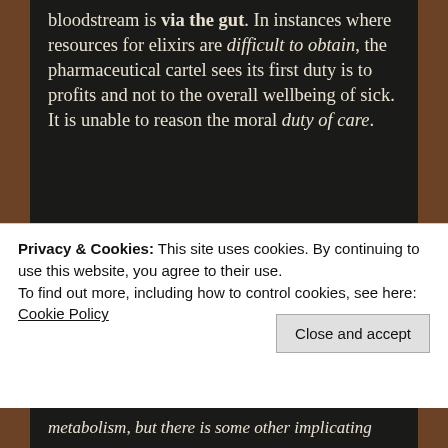bloodstream is via the gut. In instances where resources for elixirs are difficult to obtain, the pharmaceutical cartel sees its first duty is to profits and not to the overall wellbeing of sick. It is unable to reason the moral duty of care.
My earlier mentioned lack
[Figure (infographic): Infographic on black background showing '11 POUNDS OF POOP' in large yellow-green bold text, with subtitle 'amount of manure produced each day by a 180-pound hog', and a yellow-green silhouette of a pig next to a pile of manure.]
Privacy & Cookies: This site uses cookies. By continuing to use this website, you agree to their use.
To find out more, including how to control cookies, see here: Cookie Policy
metabolism, but there is some other implicating